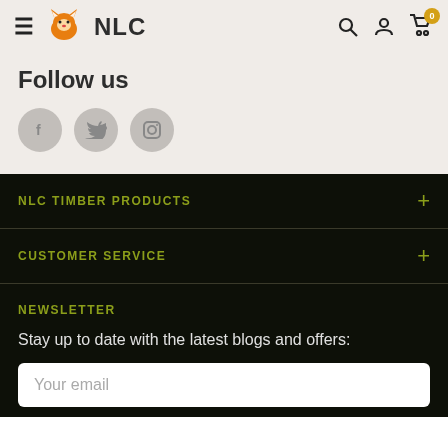NLC — navigation bar with hamburger menu, logo, search, account, and cart icons
Follow us
[Figure (illustration): Three social media icons: Facebook, Twitter, Instagram — grey circular buttons]
NLC TIMBER PRODUCTS
CUSTOMER SERVICE
NEWSLETTER
Stay up to date with the latest blogs and offers:
Your email